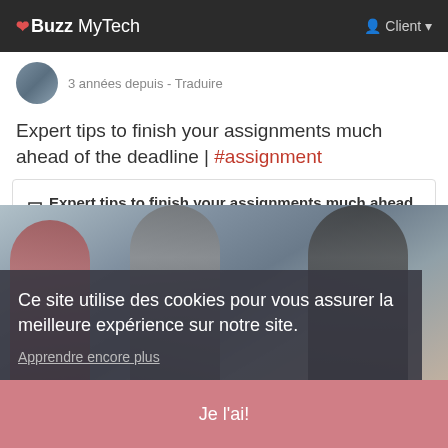❤ Buzz MyTech   Client ▾
3 années depuis - Traduire
Expert tips to finish your assignments much ahead of the deadline | #assignment
Expert tips to finish your assignments much ahead of the deadline
Has deferring the academic tasks become your perpetual habit? Do you spend hours on the internet looking for assignment help whenever your professor assigns you with a task? Being able to draft A+ quality assignment, whilst meeting tight deadlines is a key skill you must master.
[Figure (photo): Photo of students in background, partially visible behind cookie consent overlay]
Ce site utilise des cookies pour vous assurer la meilleure expérience sur notre site.
Apprendre encore plus
Je l'ai!